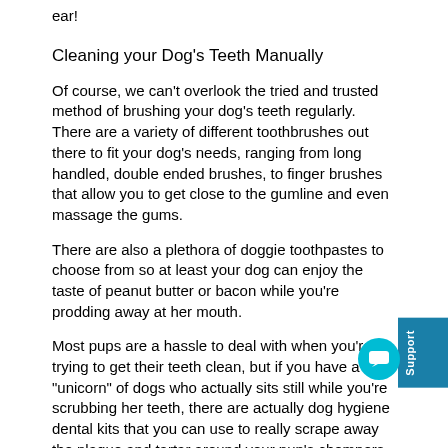ear!
Cleaning your Dog's Teeth Manually
Of course, we can't overlook the tried and trusted method of brushing your dog's teeth regularly. There are a variety of different toothbrushes out there to fit your dog's needs, ranging from long handled, double ended brushes, to finger brushes that allow you to get close to the gumline and even massage the gums.
There are also a plethora of doggie toothpastes to choose from so at least your dog can enjoy the taste of peanut butter or bacon while you're prodding away at her mouth.
Most pups are a hassle to deal with when you're trying to get their teeth clean, but if you have a "unicorn" of dogs who actually sits still while you're scrubbing her teeth, there are actually dog hygiene dental kits that you can use to really scrape away the plaque and tartar around your pup's chompers.
DIY Dog Toothbrush: Bristly Brushing Stick
Of course, if you want to take the work out of brushing altogether, try a Bristly